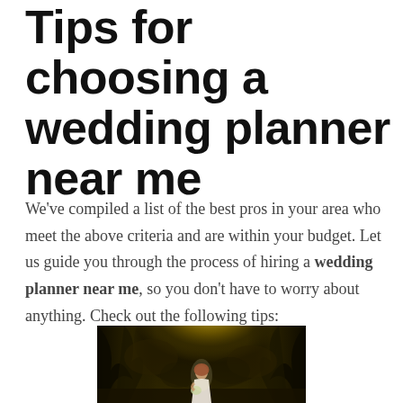Tips for choosing a wedding planner near me
We've compiled a list of the best pros in your area who meet the above criteria and are within your budget. Let us guide you through the process of hiring a wedding planner near me, so you don't have to worry about anything. Check out the following tips:
[Figure (photo): A bride in a white dress standing in a sunlit forest, holding a bouquet, with golden backlight through trees]